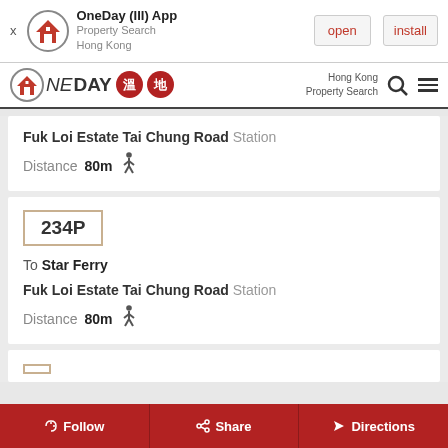[Figure (screenshot): App install banner for OneDay (III) App - Property Search Hong Kong, with open and install buttons]
[Figure (logo): OneDay brand navigation bar with logo, Chinese character badges, Hong Kong Property Search text, search icon, and hamburger menu]
Fuk Loi Estate Tai Chung Road Station
Distance 80m (walking icon)
234P
To Star Ferry
Fuk Loi Estate Tai Chung Road Station
Distance 80m (walking icon)
Follow | Share | Directions